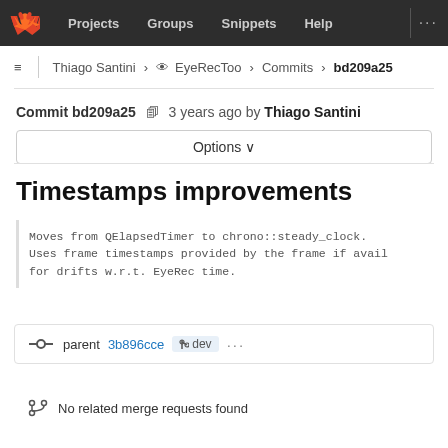Projects  Groups  Snippets  Help
Thiago Santini > EyeRecToo > Commits > bd209a25
Commit bd209a25  3 years ago by Thiago Santini
Options
Timestamps improvements
Moves from QElapsedTimer to chrono::steady_clock.
Uses frame timestamps provided by the frame if avail
for drifts w.r.t. EyeRec time.
parent 3b896cce  dev  ...
No related merge requests found